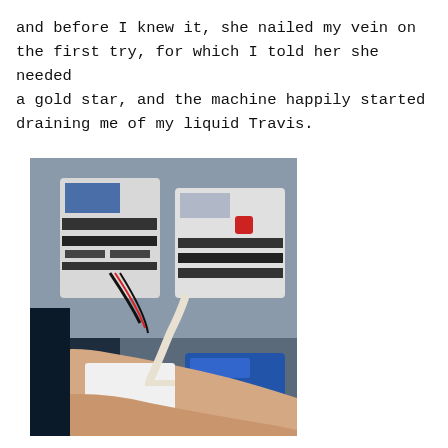and before I knew it, she nailed my vein on the first try, for which I told her she needed a gold star, and the machine happily started draining me of my liquid Travis.
[Figure (photo): A photograph showing a person's arm with an IV needle inserted, connected to tubing with white medical tape securing it, in front of medical apheresis or blood donation machines that are white and black, with wires and controls visible.]